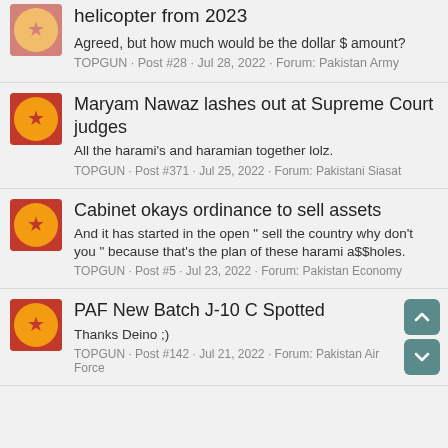helicopter from 2023
Agreed, but how much would be the dollar $ amount?
TOPGUN · Post #28 · Jul 28, 2022 · Forum: Pakistan Army
Maryam Nawaz lashes out at Supreme Court judges
All the harami's and haramian together lolz.
TOPGUN · Post #371 · Jul 25, 2022 · Forum: Pakistani Siasat
Cabinet okays ordinance to sell assets
And it has started in the open " sell the country why don't you " because that's the plan of these harami a$$holes.
TOPGUN · Post #5 · Jul 23, 2022 · Forum: Pakistan Economy
PAF New Batch J-10 C Spotted
Thanks Deino ;)
TOPGUN · Post #142 · Jul 21, 2022 · Forum: Pakistan Air Force